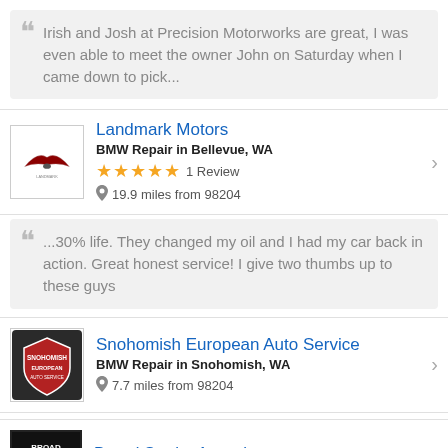Irish and Josh at Precision Motorworks are great, I was even able to meet the owner John on Saturday when I came down to pick...
Landmark Motors
BMW Repair in Bellevue, WA
★★★★★ 1 Review
19.9 miles from 98204
...30% life. They changed my oil and I had my car back in action. Great honest service! I give two thumbs up to these guys
Snohomish European Auto Service
BMW Repair in Snohomish, WA
7.7 miles from 98204
Broad Stroke Associates